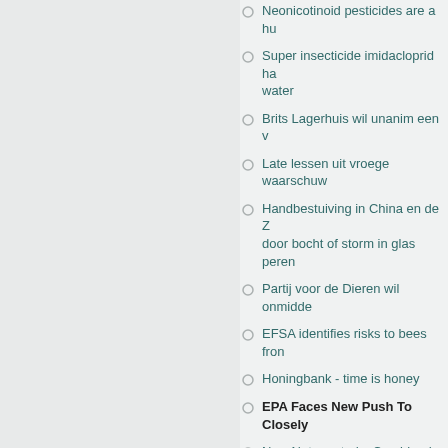Neonicotinoid pesticides are a hu…
Super insecticide imidacloprid ha… water
Brits Lagerhuis wil unanim een v…
Late lessen uit vroege waarschuw…
Handbestuiving in China en de Z… door bocht of storm in glas peren…
Partij voor de Dieren wil onmidde…
EFSA identifies risks to bees fron…
Honingbank - time is honey
EPA Faces New Push To Closely…
New Nature study: Combined pes… colony-level traits in bees
Influence of dinotefuran and clot…
Movement of Soil-Applied Imidac… Squash (Cucurbita pepo)
Imidacloprid-Induced Impairment… Stingless Bee Melipona quadrifas…
Effects of imidacloprid, a neonico… bees (Bombus terrestris)